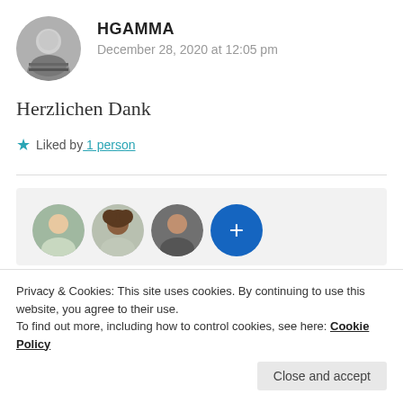[Figure (photo): Circular avatar photo of a man in black and white]
HGAMMA
December 28, 2020 at 12:05 pm
Herzlichen Dank
★ Liked by 1 person
[Figure (photo): Row of three circular follower avatars (a woman, a woman with curly hair, a man) and a blue plus button]
Privacy & Cookies: This site uses cookies. By continuing to use this website, you agree to their use.
To find out more, including how to control cookies, see here: Cookie Policy
Close and accept